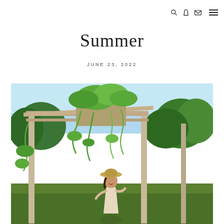Navigation icons: search, bag, envelope, menu
Summer
JUNE 23, 2022
[Figure (photo): A woman in a straw hat standing outdoors in front of a rustic wooden pergola/greenhouse structure covered in lush green climbing plants, with trees and blue sky in the background, on a sunny summer day]